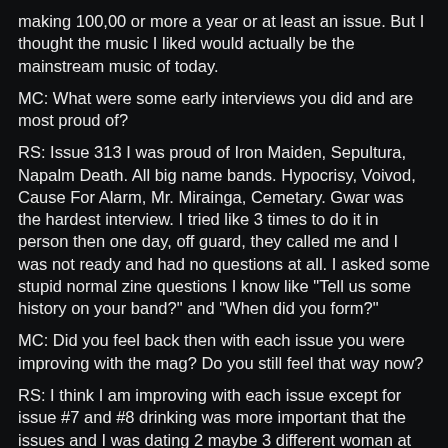making 100,00 or more a year or at least an issue. But I thought the music I liked would actually be the mainstream music of today.
MC: What were some early interviews you did and are most proud of?
RS: Issue 313 I was proud of Iron Maiden, Sepultura, Napalm Death. All big name bands. Hypocrisy, Voivod, Cause For Alarm, Mr. Mirainga, Cemetary. Gwar was the hardest interview. I tried like 3 times to do it in person then one day, off guard, they called me and I was not ready and had no questions at all. I asked some stupid normal zine questions I know like "Tell us some history on your band?" and "When did you form?"
MC: Did you feel back then with each issue you were improving with the mag? Do you still feel that way now?
RS: I think I am improving with each issue except for issue #7 and #8 drinking was more important that the issues and I was dating 2 maybe 3 different woman at the same time and that when Cianide (IL) pushed me back on track and I actually got a few bad reviews, yes me. I am never happy with an issue and I see things that need to be improved all the time, but I used a new printer for issue #29 and I was most impressed with the quality of the pictures. I have a full time artist for issue #30, which I hope works out easier with